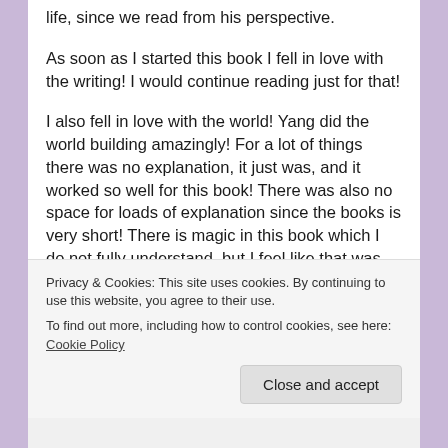life, since we read from his perspective.
As soon as I started this book I fell in love with the writing! I would continue reading just for that!
I also fell in love with the world! Yang did the world building amazingly! For a lot of things there was no explanation, it just was, and it worked so well for this book! There was also no space for loads of explanation since the books is very short! There is magic in this book which I do not fully understand, but I feel like that was not necessary!
I loved that children are born non-binary, and at some point in their lives they choose a gender, or they don't!
And I don't even know what to say about the plot! For such
Privacy & Cookies: This site uses cookies. By continuing to use this website, you agree to their use.
To find out more, including how to control cookies, see here: Cookie Policy
Close and accept